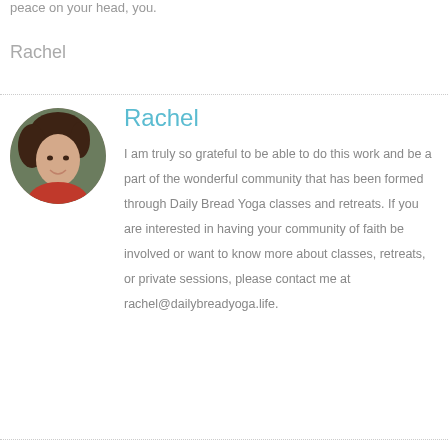peace on your head, you.
Rachel
[Figure (photo): Circular portrait photo of Rachel, a woman with brown hair, smiling, wearing a red top, outdoors with a blurred green background.]
Rachel
I am truly so grateful to be able to do this work and be a part of the wonderful community that has been formed through Daily Bread Yoga classes and retreats. If you are interested in having your community of faith be involved or want to know more about classes, retreats, or private sessions, please contact me at rachel@dailybreadyoga.life.